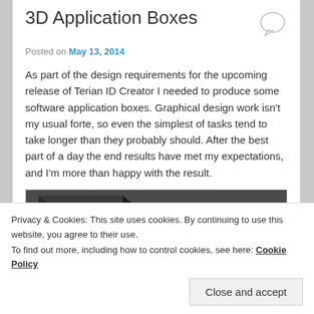3D Application Boxes
Posted on May 13, 2014
As part of the design requirements for the upcoming release of Terian ID Creator I needed to produce some software application boxes. Graphical design work isn't my usual forte, so even the simplest of tasks tend to take longer than they probably should. After the best part of a day the end results have met my expectations, and I'm more than happy with the result.
[Figure (photo): A 3D rendered software application box with dark packaging showing the Terian brand name and asterisk logo in orange/gold on a dark background.]
Privacy & Cookies: This site uses cookies. By continuing to use this website, you agree to their use. To find out more, including how to control cookies, see here: Cookie Policy